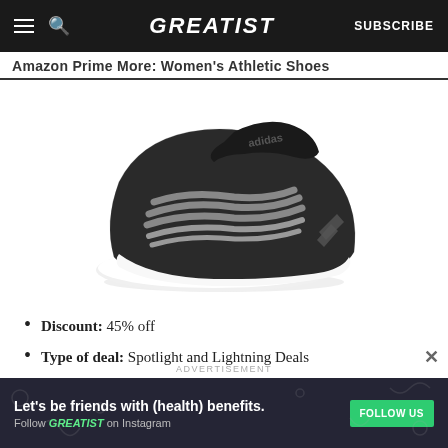GREATIST | SUBSCRIBE
Amazon Prime Day: Women's Shoes
[Figure (photo): Black Adidas slip-on sneaker with grey elastic bungee laces and white sole]
Discount: 45% off
Type of deal: Spotlight and Lightning Deals
Deal start and end time: 6/21/21–6/22/21
ADVERTISEMENT
Let's be friends with (health) benefits. Follow GREATIST on Instagram